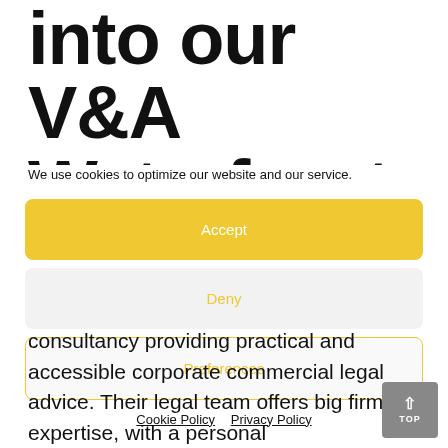into our V&A Waterfront
We use cookies to optimize our website and our service.
Accept
Deny
Preferences
Cookie Policy  Privacy Policy
consultancy providing practical and accessible corporate commercial legal advice. Their legal team offers big firm expertise, with a personal